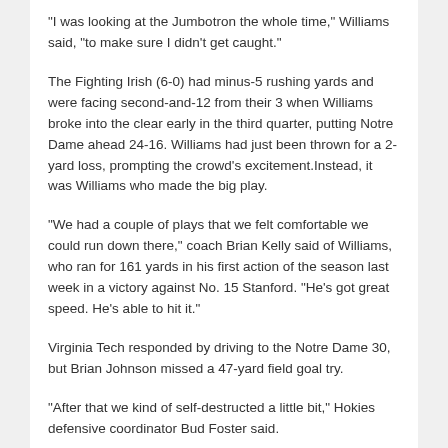"I was looking at the Jumbotron the whole time," Williams said, "to make sure I didn't get caught."
The Fighting Irish (6-0) had minus-5 rushing yards and were facing second-and-12 from their 3 when Williams broke into the clear early in the third quarter, putting Notre Dame ahead 24-16. Williams had just been thrown for a 2-yard loss, prompting the crowd's excitement.Instead, it was Williams who made the big play.
"We had a couple of plays that we felt comfortable we could run down there," coach Brian Kelly said of Williams, who ran for 161 yards in his first action of the season last week in a victory against No. 15 Stanford. "He's got great speed. He's able to hit it."
Virginia Tech responded by driving to the Notre Dame 30, but Brian Johnson missed a 47-yard field goal try.
"After that we kind of self-destructed a little bit," Hokies defensive coordinator Bud Foster said.